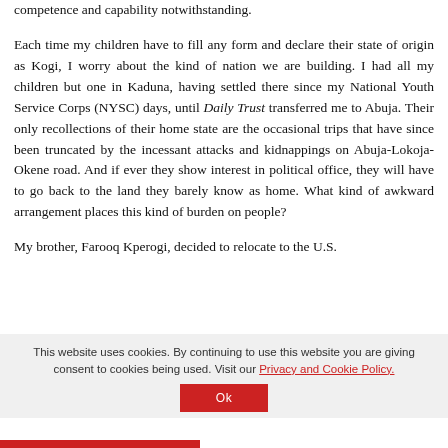competence and capability notwithstanding.
Each time my children have to fill any form and declare their state of origin as Kogi, I worry about the kind of nation we are building. I had all my children but one in Kaduna, having settled there since my National Youth Service Corps (NYSC) days, until Daily Trust transferred me to Abuja. Their only recollections of their home state are the occasional trips that have since been truncated by the incessant attacks and kidnappings on Abuja-Lokoja-Okene road. And if ever they show interest in political office, they will have to go back to the land they barely know as home. What kind of awkward arrangement places this kind of burden on people?
My brother, Farooq Kperogi, decided to relocate to the U.S.
This website uses cookies. By continuing to use this website you are giving consent to cookies being used. Visit our Privacy and Cookie Policy.